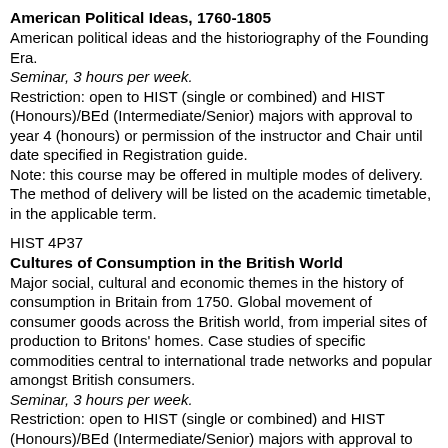American Political Ideas, 1760-1805
American political ideas and the historiography of the Founding Era.
Seminar, 3 hours per week.
Restriction: open to HIST (single or combined) and HIST (Honours)/BEd (Intermediate/Senior) majors with approval to year 4 (honours) or permission of the instructor and Chair until date specified in Registration guide.
Note: this course may be offered in multiple modes of delivery. The method of delivery will be listed on the academic timetable, in the applicable term.
HIST 4P37
Cultures of Consumption in the British World
Major social, cultural and economic themes in the history of consumption in Britain from 1750. Global movement of consumer goods across the British world, from imperial sites of production to Britons' homes. Case studies of specific commodities central to international trade networks and popular amongst British consumers.
Seminar, 3 hours per week.
Restriction: open to HIST (single or combined) and HIST (Honours)/BEd (Intermediate/Senior) majors with approval to year 4 (honours) or permission of the instructor and Chair until date specified in Registration guide.